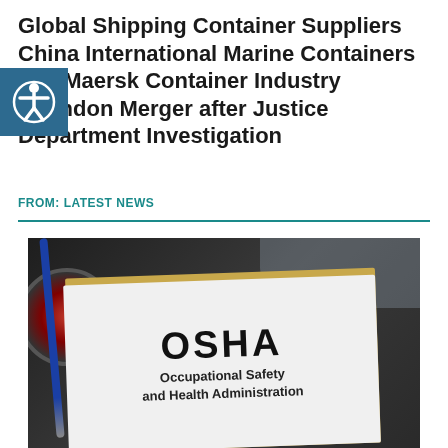Global Shipping Container Suppliers China International Marine Containers and Maersk Container Industry Abandon Merger after Justice Department Investigation
FROM: LATEST NEWS
[Figure (photo): Photo of an OSHA (Occupational Safety and Health Administration) clipboard document on a dark desk surface, with safety goggles in the background upper right, a compass/gauge on the left, and a blue pen on the lower left.]